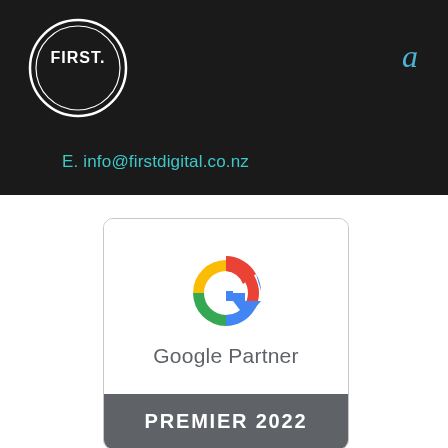[Figure (logo): First. logo — white text on black circle with double border ring]
a
E. info@firstdigital.co.nz
[Figure (logo): Google Partner Premier 2022 badge — Google G logo above 'Google Partner' text, with dark grey bar reading 'PREMIER 2022']